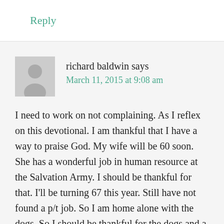Reply
richard baldwin says
March 11, 2015 at 9:08 am
I need to work on not complaining. As I reflex on this devotional. I am thankful that I have a way to praise God. My wife will be 60 soon. She has a wonderful job in human resource at the Salvation Army. I should be thankful for that. I'll be turning 67 this year. Still have not found a p/t job. So I am home alone with the dogs. So I should be thankful for the dogs and a